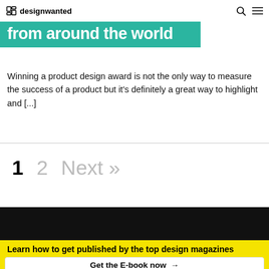designwanted
from around the world
Winning a product design award is not the only way to measure the success of a product but it's definitely a great way to highlight and [...]
1  2  Next »
Learn how to get published by the top design magazines
Get the E-book now →